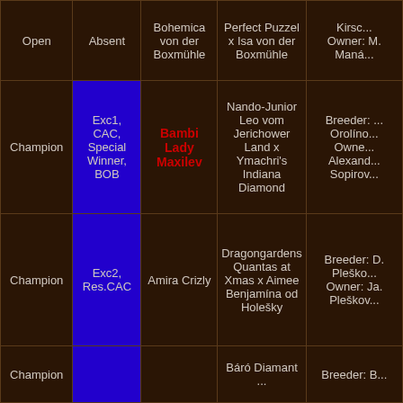| Class | Result | Dog Name | Parents | Breeder/Owner |
| --- | --- | --- | --- | --- |
| Open | Absent | Bohemica von der Boxmühle | Perfect Puzzel x Isa von der Boxmühle | Kirsch... Owner: M. Maná... |
| Champion | Exc1, CAC, Special Winner, BOB | Bambi Lady Maxilev | Nando-Junior Leo vom Jerichower Land x Ymachri's Indiana Diamond | Breeder: ... Orolíno... Owner: Alexand... Sopirov... |
| Champion | Exc2, Res.CAC | Amira Crizly | Dragongardens Quantas at Xmas x Aimee Benjamína od Holešky | Breeder: D. Pleško... Owner: Ja. Pleškov... |
| Champion | ... | ... | Báró Diamant... | Breeder: B... |